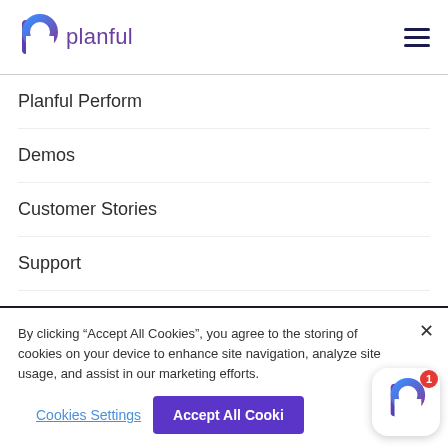[Figure (logo): Planful logo with purple 'p' icon and 'planful' text in purple]
Planful Perform
Demos
Customer Stories
Support
Company
By clicking “Accept All Cookies”, you agree to the storing of cookies on your device to enhance site navigation, analyze site usage, and assist in our marketing efforts.
Cookies Settings
Accept All Cookies
[Figure (logo): Planful app icon with purple 'p' logo, notification badge showing 1]